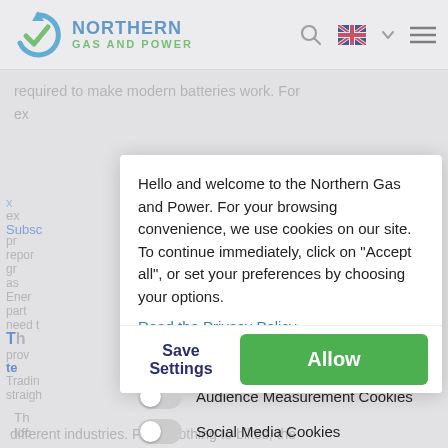[Figure (logo): Northern Gas and Power logo with circular blue arrow/check icon and company name in blue and green]
NORTHERN GAS AND POWER
required to make modern batteries work. For
Hello and welcome to the Northern Gas and Power. For your browsing convenience, we use cookies on our site. To continue immediately, click on "Accept all", or set your preferences by choosing your options.
Read the Privacy Policy
Technical Cookies
Audience Measurement Cookies
Social Media Cookies
Save Settings
Allow
different industries. From clothing to bikes, the